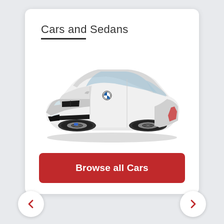Cars and Sedans
[Figure (photo): White BMW 3-series sedan shown in a 3/4 front angle view on a white background]
Browse all Cars